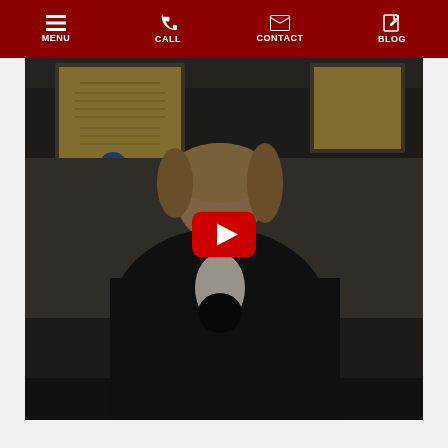MENU | CALL | CONTACT | BLOG
[Figure (screenshot): Video thumbnail showing a woman in a dark blazer seated in an office with framed certificates on the wall behind her. A YouTube-style red play button is overlaid in the center of the video. The bottom portion of the video has a dark control bar.]